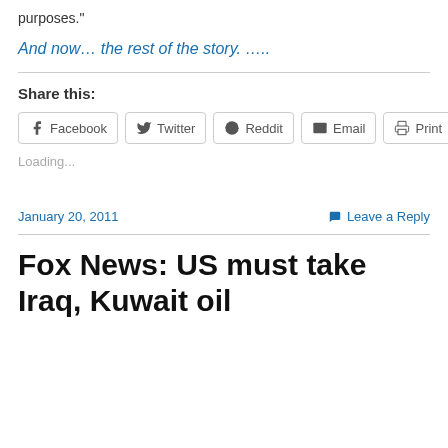purposes."
And now… the rest of the story. …..
Share this:
Facebook  Twitter  Reddit  Email  Print
Loading...
January 20, 2011
Leave a Reply
Fox News: US must take Iraq, Kuwait oil